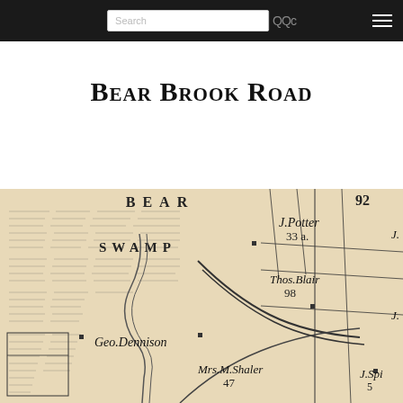Search [search icons] [hamburger menu]
Bear Brook Road
[Figure (map): Historical map excerpt showing Bear Swamp area with property owner labels including J. Potter (33 a.), Thos. Blair (98), Geo. Dennison, Mrs. M. Shaler (47), and J. Spi... (5). Number 92 visible in upper right. Roads and property boundaries drawn on aged parchment-colored background.]